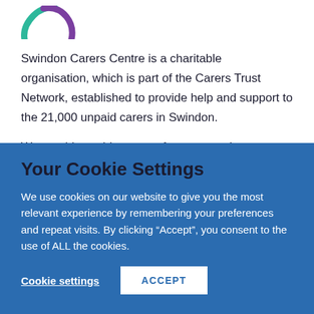[Figure (logo): Partial logo — teal and purple arc/letterform on white background]
Swindon Carers Centre is a charitable organisation, which is part of the Carers Trust Network, established to provide help and support to the 21,000 unpaid carers in Swindon.
We provide a wide range of support and
Your Cookie Settings
We use cookies on our website to give you the most relevant experience by remembering your preferences and repeat visits. By clicking “Accept”, you consent to the use of ALL the cookies.
Cookie settings   ACCEPT